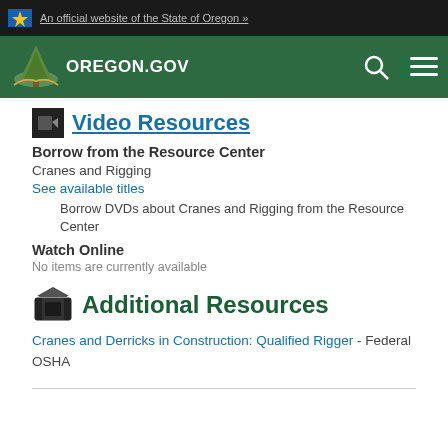An official website of the State of Oregon »
[Figure (logo): Oregon.gov green navigation bar with tree logo, search and menu icons]
Video Resources
Borrow from the Resource Center
Cranes and Rigging
See available titles
Borrow DVDs about Cranes and Rigging from the Resource Center
Watch Online
No items are currently available
Additional Resources
Cranes and Derricks in Construction: Qualified Rigger - Federal OSHA